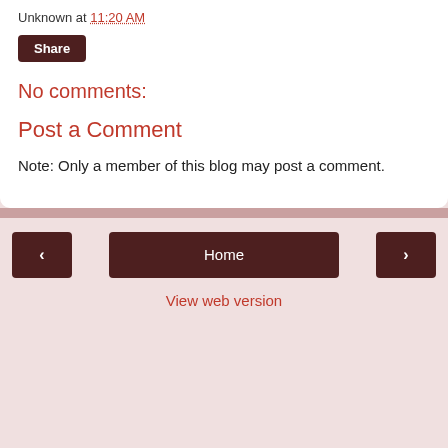Unknown at 11:20 AM
Share
No comments:
Post a Comment
Note: Only a member of this blog may post a comment.
Home
View web version